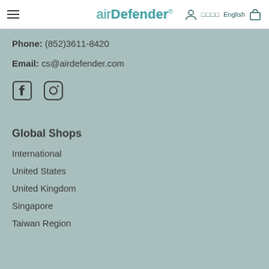airDefender® — Navigation bar with menu icon, logo, language selector, and cart
Phone: (852)3611-8420
Email: cs@airdefender.com
[Figure (illustration): Facebook and Instagram social media icons]
Global Shops
International
United States
United Kingdom
Singapore
Taiwan Region